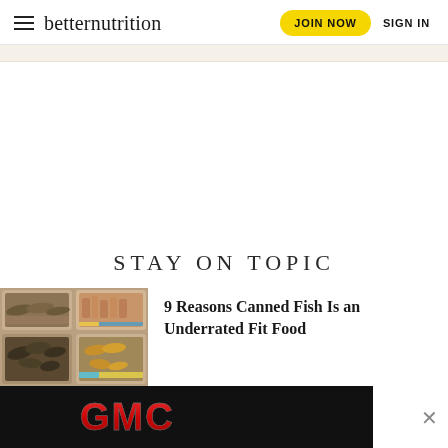betternutrition — JOIN NOW  SIGN IN
STAY ON TOPIC
[Figure (photo): Grid of open cans of various fish: sardines, tuna, and other canned seafood]
9 Reasons Canned Fish Is an Underrated Fit Food
[Figure (logo): GMC logo advertisement banner on black background]